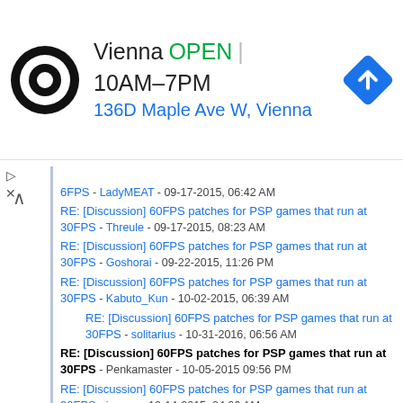[Figure (infographic): Google Maps style advertisement banner showing a business named 'Vienna' with OPEN status, hours 10AM-7PM, address 136D Maple Ave W, Vienna, and a navigation arrow icon]
6FPS - LadyMEAT - 09-17-2015, 06:42 AM
RE: [Discussion] 60FPS patches for PSP games that run at 30FPS - Threule - 09-17-2015, 08:23 AM
RE: [Discussion] 60FPS patches for PSP games that run at 30FPS - Goshorai - 09-22-2015, 11:26 PM
RE: [Discussion] 60FPS patches for PSP games that run at 30FPS - Kabuto_Kun - 10-02-2015, 06:39 AM
RE: [Discussion] 60FPS patches for PSP games that run at 30FPS - solitarius - 10-31-2016, 06:56 AM
RE: [Discussion] 60FPS patches for PSP games that run at 30FPS - Penkamaster - 10-05-2015 09:56 PM
RE: [Discussion] 60FPS patches for PSP games that run at 30FPS - jgrwsg - 10-14-2015, 04:06 AM
RE: [Discussion] 60FPS patches for PSP games that run at 30FPS - Name456 - 10-18-2015, 11:47 PM
RE: [Discussion] 60FPS patches for PSP games that run at 30FPS - Bad Company - 10-23-2015, 12:28 AM
RE: [Discussion] 60FPS patches for PSP games that run at 30FPS - ivyking007 - 10-31-2015, 08:04 PM
RE: [Discussion] 60FPS patches for PSP games that run at